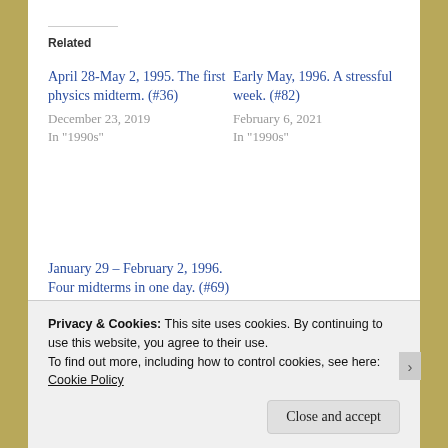Related
April 28-May 2, 1995. The first physics midterm. (#36)
December 23, 2019
In "1990s"
Early May, 1996. A stressful week. (#82)
February 6, 2021
In "1990s"
January 29 – February 2, 1996. Four midterms in one day. (#69)
November 7, 2020
In "1990s"
Privacy & Cookies: This site uses cookies. By continuing to use this website, you agree to their use.
To find out more, including how to control cookies, see here:
Cookie Policy